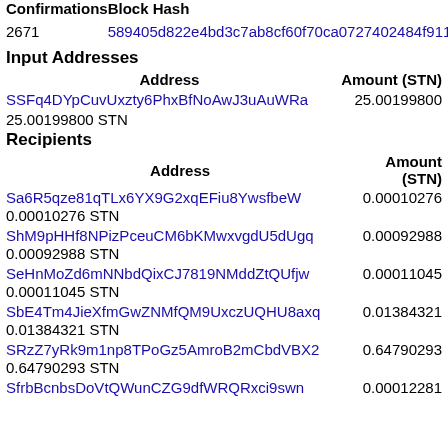| Confirmations | Block Hash |
| --- | --- |
| 2671 | 589405d822e4bd3c7ab8cf60f70ca0727402484f9113... |
Input Addresses
| Address | Amount (STN) |
| --- | --- |
| SSFq4DYpCuvUxzty6PhxBfNoAwJ3uAuWRa | 25.00199800 |
25.00199800 STN
Recipients
| Address | Amount (STN) |
| --- | --- |
| Sa6R5qze81qTLx6YX9G2xqEFiu8YwsfbeW | 0.00010276 |
| ShM9pHHf8NPizPceuCM6bKMwxvgdU5dUgq | 0.00092988 |
| SeHnMoZd6mNNbdQixCJ7819NMddZtQUfjw | 0.00011045 |
| SbE4Tm4JieXfmGwZNMfQM9UxczUQHU8axq | 0.01384321 |
| SRzZ7yRk9m1np8TPoGz5AmroB2mCbdVBX2 | 0.64790293 |
| SfrbBcnbsDoVtQWunCZG9dfWRQRxci9swn | 0.00012281 |